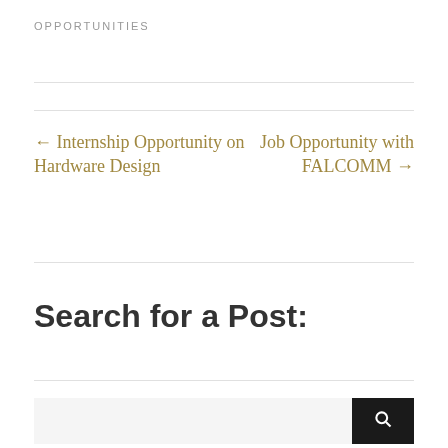OPPORTUNITIES
← Internship Opportunity on Hardware Design
Job Opportunity with FALCOMM →
Search for a Post: